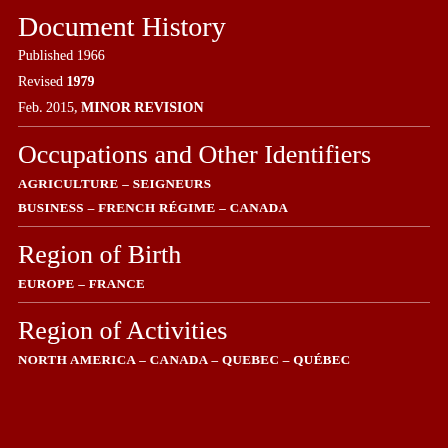Document History
Published 1966
Revised 1979
Feb. 2015, MINOR REVISION
Occupations and Other Identifiers
AGRICULTURE – SEIGNEURS
BUSINESS – FRENCH RÉGIME – CANADA
Region of Birth
EUROPE – FRANCE
Region of Activities
NORTH AMERICA – CANADA – QUEBEC – QUÉBEC